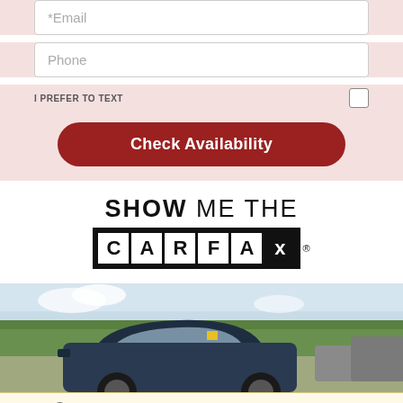[Figure (screenshot): Email input field (form field)]
[Figure (screenshot): Phone input field (form field)]
I PREFER TO TEXT
[Figure (screenshot): Check Availability red button]
[Figure (logo): SHOW ME THE CARFAX logo]
[Figure (photo): Car dealership lot photo showing SUV in foreground with trees and other vehicles in background]
Your web browser (iOS 11) is out of date. Update your browser for more security, speed and the best experience on this site.
[Figure (screenshot): Update browser and Ignore buttons]